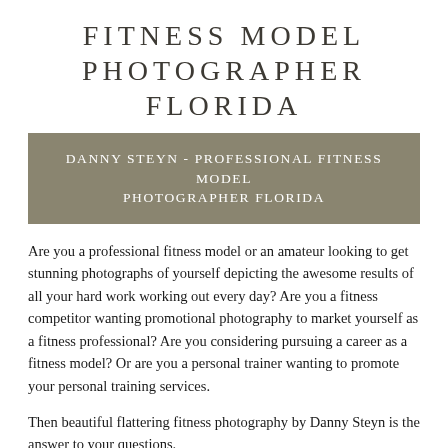FITNESS MODEL PHOTOGRAPHER FLORIDA
DANNY STEYN - PROFESSIONAL FITNESS MODEL PHOTOGRAPHER FLORIDA
Are you a professional fitness model or an amateur looking to get stunning photographs of yourself depicting the awesome results of all your hard work working out every day? Are you a fitness competitor wanting promotional photography to market yourself as a fitness professional? Are you considering pursuing a career as a fitness model? Or are you a personal trainer wanting to promote your personal training services.
Then beautiful flattering fitness photography by Danny Steyn is the answer to your questions.
Danny Steyn is a professional fitness photographer in Fort Lauderdale who captures fitness professionals and amateurs with his superb photography. Danny mainly works in and around South